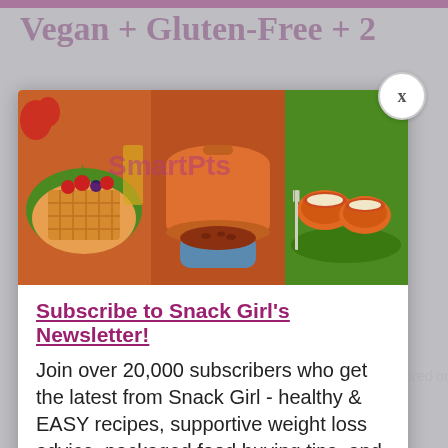Vegan + Gluten-Free + 2
[Figure (photo): Three food photos side by side: waffles with berries on green plate, orange Dutch oven with chili, stuffed bell peppers with cheese on green plate]
Subscribe to Snack Girl's Newsletter!
Join over 20,000 subscribers who get the latest from Snack Girl - healthy & EASY recipes, supportive weight loss advice, packaged food buying tips, and more!
enter your email address
Subscribe